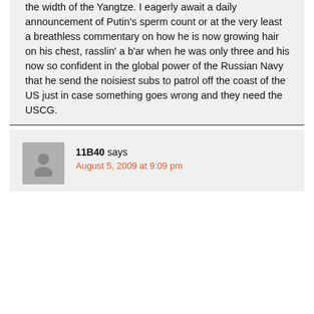the width of the Yangtze. I eagerly await a daily announcement of Putin's sperm count or at the very least a breathless commentary on how he is now growing hair on his chest, rasslin' a b'ar when he was only three and his now so confident in the global power of the Russian Navy that he send the noisiest subs to patrol off the coast of the US just in case something goes wrong and they need the USCG.
11B40 says
August 5, 2009 at 9:09 pm